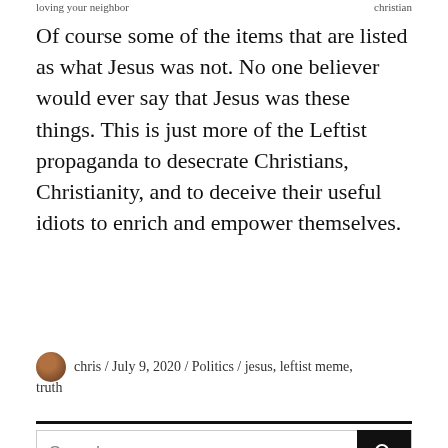loving your neighbor / christian
Of course some of the items that are listed as what Jesus was not. No one believer would ever say that Jesus was these things. This is just more of the Leftist propaganda to desecrate Christians, Christianity, and to deceive their useful idiots to enrich and empower themselves.
chris / July 9, 2020 / Politics / jesus, leftist meme, truth